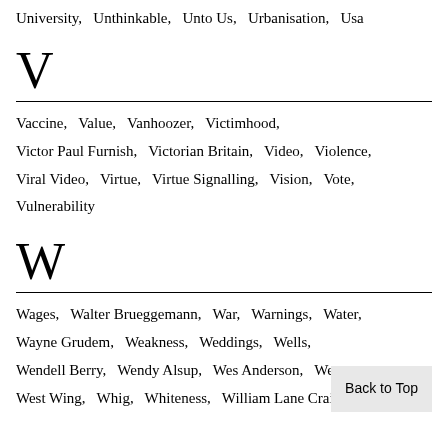University,   Unthinkable,   Unto Us,   Urbanisation,   Usa
V
Vaccine,   Value,   Vanhoozer,   Victimhood,   Victor Paul Furnish,   Victorian Britain,   Video,   Violence,   Viral Video,   Virtue,   Virtue Signalling,   Vision,   Vote,   Vulnerability
W
Wages,   Walter Brueggemann,   War,   Warnings,   Water,   Wayne Grudem,   Weakness,   Weddings,   Wells,   Wendell Berry,   Wendy Alsup,   Wes Anderson,   Wes…   West Wing,   Whig,   Whiteness,   William Lane Craig,